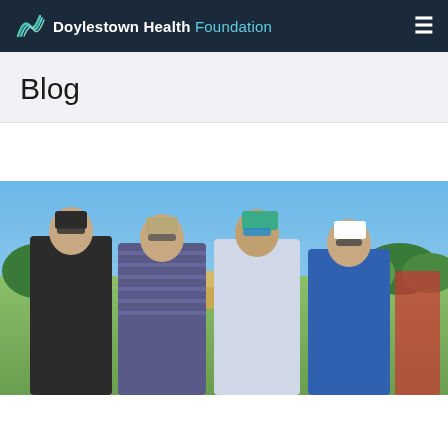Doylestown Health Foundation
Blog
[Figure (photo): Four men wearing sunglasses and polo shirts standing together outdoors on a golf course on a sunny day. A golf cart is visible behind them. Trees and blue sky in background. One man wears a black shirt, one a purple striped shirt, one a light blue/white shirt with a teal cap, and one a blue shirt with a white cap.]